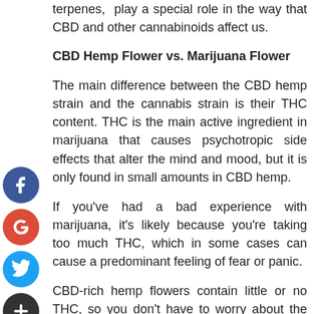terpenes,  play a special role in the way that CBD and other cannabinoids affect us.
CBD Hemp Flower vs. Marijuana Flower
The main difference between the CBD hemp strain and the cannabis strain is their THC content. THC is the main active ingredient in marijuana that causes psychotropic side effects that alter the mind and mood, but it is only found in small amounts in CBD hemp.
If you've had a bad experience with marijuana, it's likely because you're taking too much THC, which in some cases can cause a predominant feeling of fear or panic.
CBD-rich hemp flowers contain little or no THC, so you don't have to worry about the harmful effects of marijuana use.